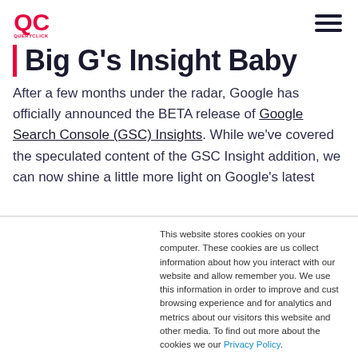QueryClick logo and navigation
Big G's Insight Baby
After a few months under the radar, Google has officially announced the BETA release of Google Search Console (GSC) Insights. While we've covered the speculated content of the GSC Insight addition, we can now shine a little more light on Google's latest
This website stores cookies on your computer. These cookies are us collect information about how you interact with our website and allow remember you. We use this information in order to improve and cust browsing experience and for analytics and metrics about our visitors this website and other media. To find out more about the cookies we our Privacy Policy.
If you decline, your information won't be tracked when you visit this w single cookie will be used in your browser to remember your prefere be tracked.